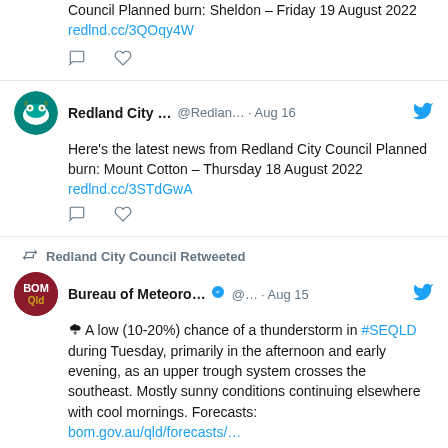Council Planned burn: Sheldon – Friday 19 August 2022 redlnd.cc/3QOqy4W
Redland City ... @Redlan... · Aug 16 — Here's the latest news from Redland City Council Planned burn: Mount Cotton – Thursday 18 August 2022 redlnd.cc/3STdGwA
Redland City Council Retweeted — Bureau of Meteoro... @... · Aug 15 — 🌩 A low (10-20%) chance of a thunderstorm in #SEQLD during Tuesday, primarily in the afternoon and early evening, as an upper trough system crosses the southeast. Mostly sunny conditions continuing elsewhere with cool mornings. Forecasts: bom.gov.au/qld/forecasts/…